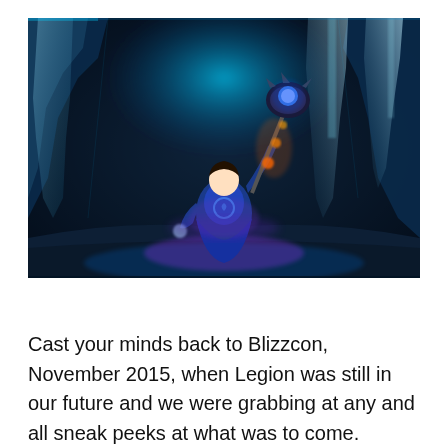[Figure (screenshot): World of Warcraft in-game screenshot showing a character in blue robes holding a glowing weapon with fire effects aloft in an icy cave environment with cyan-lit ice formations and waterfalls in the background.]
Cast your minds back to Blizzcon, November 2015, when Legion was still in our future and we were grabbing at any and all sneak peeks at what was to come. During one of the